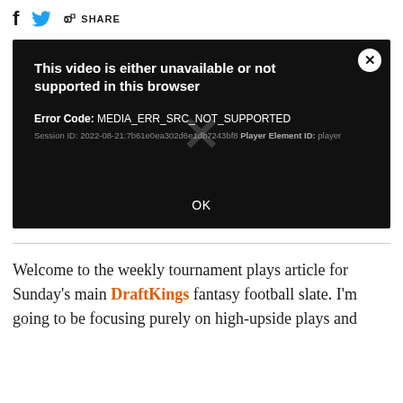[Figure (screenshot): Social share bar with Facebook, Twitter icons and SHARE button]
[Figure (screenshot): Video player error dialog on black background. Title: 'This video is either unavailable or not supported in this browser'. Error Code: MEDIA_ERR_SRC_NOT_SUPPORTED. Session ID: 2022-08-21:7b61e0ea302d6e1db7243bf8 Player Element ID: player. OK button at bottom.]
Welcome to the weekly tournament plays article for Sunday's main DraftKings fantasy football slate. I'm going to be focusing purely on high-upside plays and